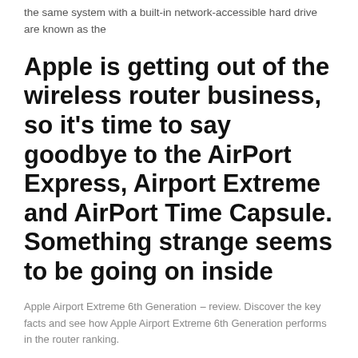the same system with a built-in network-accessible hard drive are known as the
Apple is getting out of the wireless router business, so it's time to say goodbye to the AirPort Express, Airport Extreme and AirPort Time Capsule. Something strange seems to be going on inside
Apple Airport Extreme 6th Generation ‒ review. Discover the key facts and see how Apple Airport Extreme 6th Generation performs in the router ranking.
Apple AirPort Extreme | Full Specifications: Number of LAN ports: 3. Number of WAN